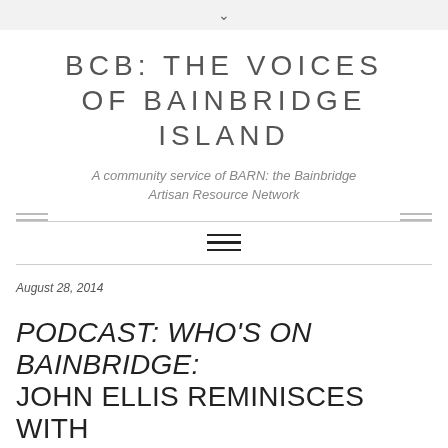BCB: THE VOICES OF BAINBRIDGE ISLAND
A community service of BARN: the Bainbridge Artisan Resource Network
August 28, 2014
PODCAST: WHO'S ON BAINBRIDGE: JOHN ELLIS REMINISCES WITH FRANK BUXTON